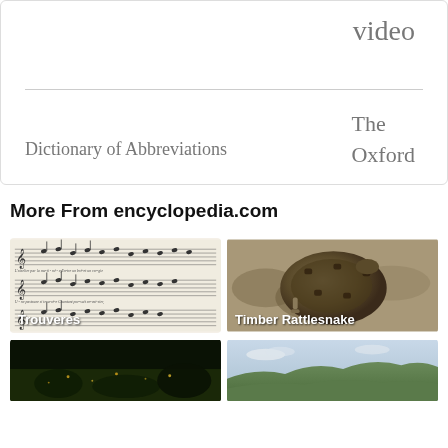video
The Oxford
Dictionary of Abbreviations
More From encyclopedia.com
[Figure (photo): Sheet music for Trouveres with handwritten musical notation and text]
[Figure (photo): Timber Rattlesnake coiled on rocky ground]
[Figure (photo): Dark forest or nighttime nature scene]
[Figure (photo): Rolling hills landscape with sky]